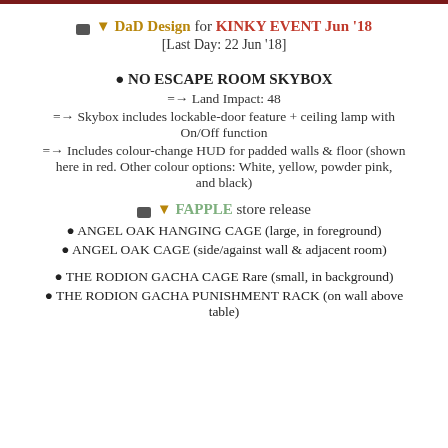📷 ▼ DaD Design for KINKY EVENT Jun '18
[Last Day: 22 Jun '18]
● NO ESCAPE ROOM SKYBOX
=→ Land Impact: 48
=→ Skybox includes lockable-door feature + ceiling lamp with On/Off function
=→ Includes colour-change HUD for padded walls & floor (shown here in red. Other colour options: White, yellow, powder pink, and black)
📷 ▼ FAPPLE store release
● ANGEL OAK HANGING CAGE (large, in foreground)
● ANGEL OAK CAGE (side/against wall & adjacent room)
● THE RODION GACHA CAGE Rare (small, in background)
● THE RODION GACHA PUNISHMENT RACK (on wall above table)